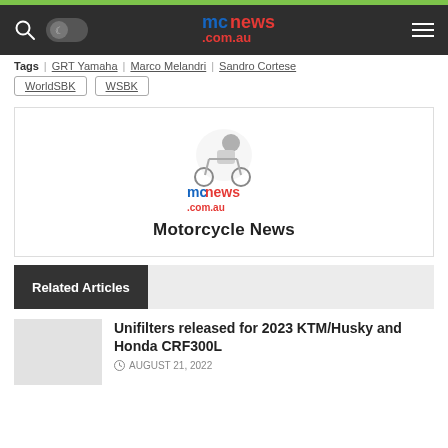mcnews.com.au
Tags: GRT Yamaha | Marco Melandri | Sandro Cortese | WorldSBK | WSBK
[Figure (logo): MCNews.com.au logo with motocross rider graphic and 'Motorcycle News' text below]
Related Articles
Unifilters released for 2023 KTM/Husky and Honda CRF300L
AUGUST 21, 2022